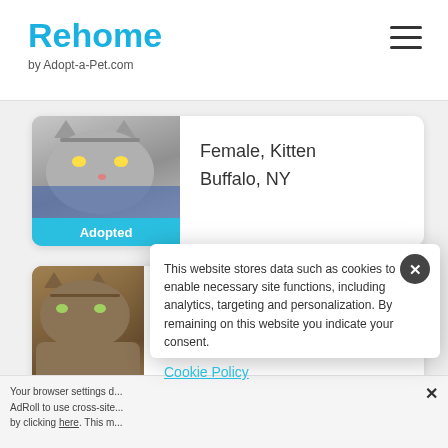Rehome by Adopt-a-Pet.com
[Figure (photo): Gray tabby kitten photo with Adopted badge]
Female, Kitten
Buffalo, NY
[Figure (photo): Brown tabby kitten photo with Adopted badge (partially obscured by cookie popup)]
This website stores data such as cookies to enable necessary site functions, including analytics, targeting and personalization. By remaining on this website you indicate your consent.
Cookie Policy
Your browser settings d... AdRoll to use cross-site... by clicking here. This m...